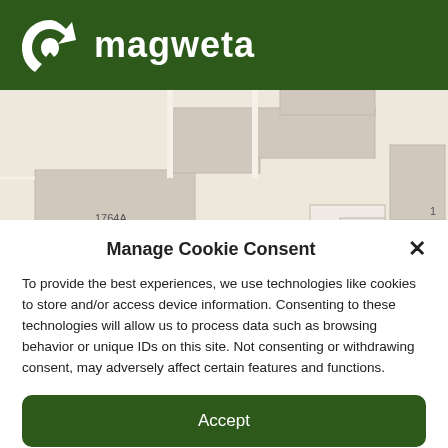[Figure (logo): Magweta logo: white circular leaf/arrow icon and white text 'magweta' on dark green header bar]
[Figure (map): Street/parcel map showing building footprints including one labeled '1764A', with 'Leaflet' attribution in lower right corner]
Manage Cookie Consent
To provide the best experiences, we use technologies like cookies to store and/or access device information. Consenting to these technologies will allow us to process data such as browsing behavior or unique IDs on this site. Not consenting or withdrawing consent, may adversely affect certain features and functions.
Accept
Opt-out preferences   Privacy Policy